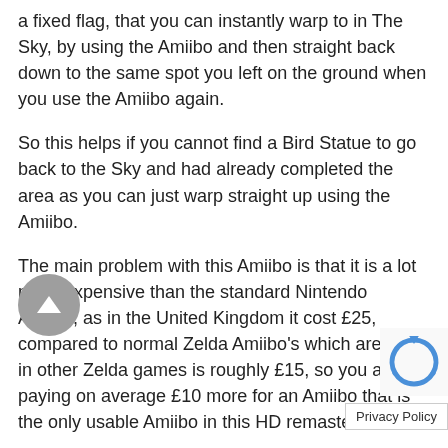a fixed flag, that you can instantly warp to in The Sky, by using the Amiibo and then straight back down to the same spot you left on the ground when you use the Amiibo again.
So this helps if you cannot find a Bird Statue to go back to the Sky and had already completed the area as you can just warp straight up using the Amiibo.
The main problem with this Amiibo is that it is a lot more expensive than the standard Nintendo Amiibo, as in the United Kingdom it cost £25, compared to normal Zelda Amiibo's which are used in other Zelda games is roughly £15, so you are paying on average £10 more for an Amiibo that is the only usable Amiibo in this HD remaster.
This does not take into the account the fact that most the time this Amiibo is sold out in stores so if you want one, then you will probably have to buy from a 3r...